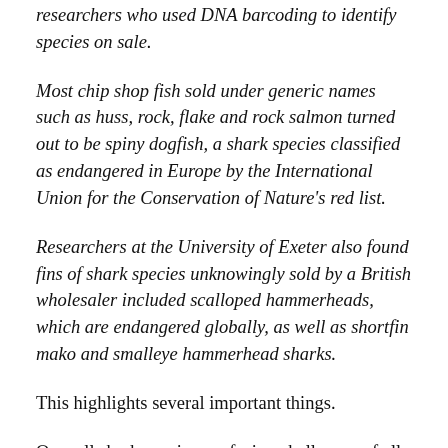researchers who used DNA barcoding to identify species on sale.
Most chip shop fish sold under generic names such as huss, rock, flake and rock salmon turned out to be spiny dogfish, a shark species classified as endangered in Europe by the International Union for the Conservation of Nature's red list.
Researchers at the University of Exeter also found fins of shark species unknowingly sold by a British wholesaler included scalloped hammerheads, which are endangered globally, as well as shortfin mako and smalleye hammerhead sharks.
This highlights several important things.
One, all shark species are facing challenges of all kinds all over the world, including some challenges, like being